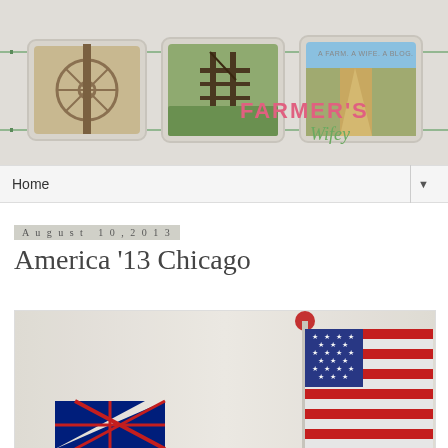[Figure (illustration): Blog header banner for Farmer's Wifey blog showing three photo frames on a wire: left frame shows a wagon wheel, center frame shows a farm gate, right frame shows a dirt road through fields with text 'A FARM. A WIFE. A BLOG.' and 'FARMER'S Wifey' overlaid in pink/green text]
Home ▼
August 10, 2013
America '13 Chicago
[Figure (photo): Photo showing an Australian flag and an American flag with stars and stripes, mounted on a cream/white wall with a red ball-topped flagpole]